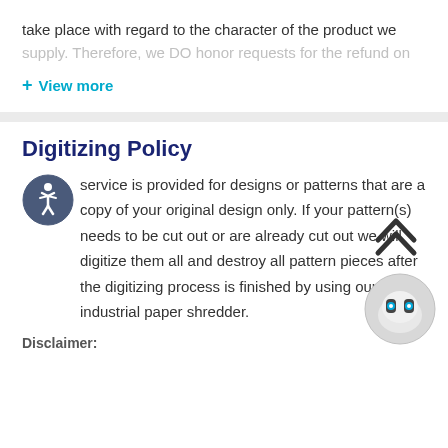take place with regard to the character of the product we supply. Therefore, we DO honor requests for the refund on
+ View more
Digitizing Policy
service is provided for designs or patterns that are a copy of your original design only. If your pattern(s) needs to be cut out or are already cut out we will digitize them all and destroy all pattern pieces after the digitizing process is finished by using our industrial paper shredder.
Disclaimer:
[Figure (illustration): Scroll-to-top arrow icon (double chevron up)]
[Figure (illustration): Chatbot robot face icon in circular frame]